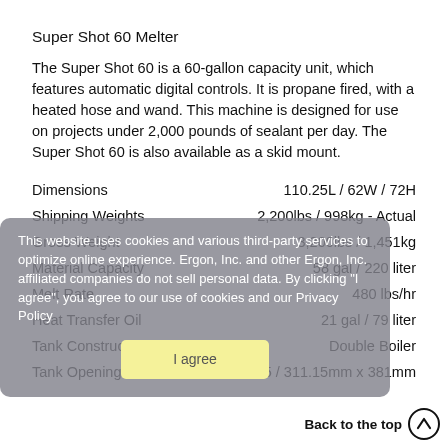Super Shot 60 Melter
The Super Shot 60 is a 60-gallon capacity unit, which features automatic digital controls. It is propane fired, with a heated hose and wand. This machine is designed for use on projects under 2,000 pounds of sealant per day. The Super Shot 60 is also available as a skid mount.
| Specification | Value |
| --- | --- |
| Dimensions | 110.25L / 62W / 72H |
| Shipping Weights | 2,200lbs / 998kg - Actual |
| Gross Weight | 3,200lbs / 1,451kg |
| Material Capacity | 58 gal / 220 liter |
| Melt Rate | 480 lbs/hr |
| Heat Transfer Oil | 21 gal / 79 liter |
| Tank Construction | Double Boiler |
| Tank Opening | 12.25 x 15 / 311.15mm x 381mm |
This website uses cookies and various third-party services to optimize online experience. Ergon, Inc. and other Ergon, Inc. affiliated companies do not sell personal data. By clicking "I agree", you agree to our use of cookies and our Privacy Policy